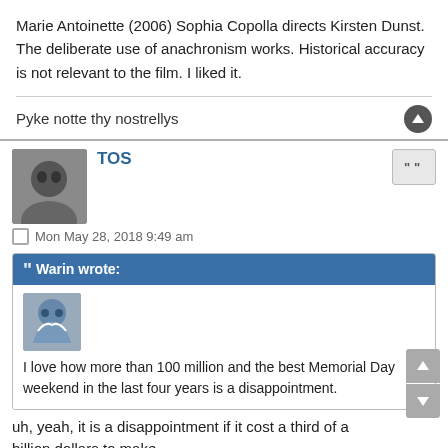Marie Antoinette (2006) Sophia Copolla directs Kirsten Dunst. The deliberate use of anachronism works. Historical accuracy is not relevant to the film. I liked it.
Pyke notte thy nostrellys
TOS
Mon May 28, 2018 9:49 am
Warin wrote:
[Figure (photo): Small avatar image of a user with a stylized graphic]
I love how more than 100 million and the best Memorial Day weekend in the last four years is a disappointment.
uh, yeah, it is a disappointment if it cost a third of a billion dollars to make
the critical overseas numbers are even worse ... this might cost Kathleen